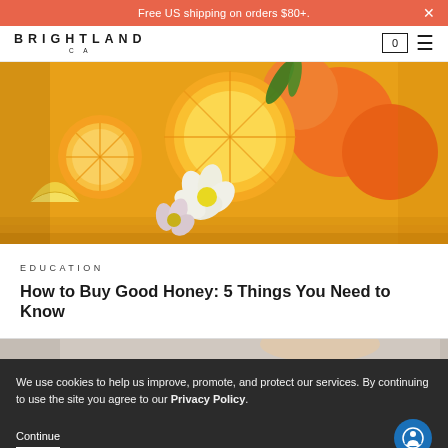Free US shipping on orders $80+.
[Figure (logo): Brightland CA logo]
[Figure (photo): Photo of sliced oranges and lemons with white flowers on a yellow wooden surface]
EDUCATION
How to Buy Good Honey: 5 Things You Need to Know
[Figure (photo): Partial photo visible at bottom of page]
We use cookies to help us improve, promote, and protect our services. By continuing to use the site you agree to our Privacy Policy.
Continue